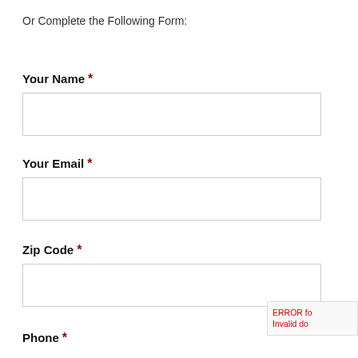Or Complete the Following Form:
Your Name *
Your Email *
Zip Code *
Phone *
ERROR fo
Invalid do